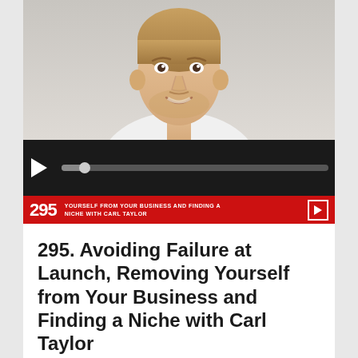[Figure (photo): Portrait photo of a smiling young man with light beard and short hair, wearing a white shirt, on a light background.]
[Figure (screenshot): Audio/podcast media player bar with play button and progress bar, shown in dark/black background. Below it a red banner showing episode number 295 and subtitle text: YOURSELF FROM YOUR BUSINESS AND FINDING A NICHE WITH CARL TAYLOR.]
295. Avoiding Failure at Launch, Removing Yourself from Your Business and Finding a Niche with Carl Taylor
Creating a successful business takes a lot of hard work and planning. There is no such thing as luck in business and for those that think it’s simply a matter of being in